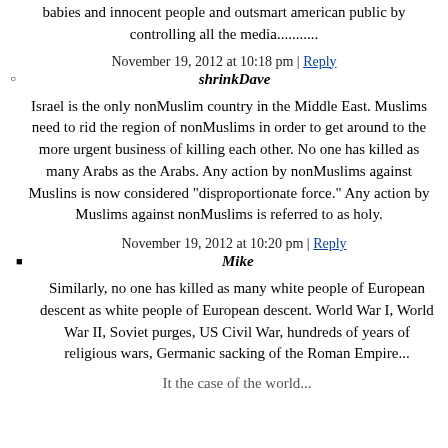babies and innocent people and outsmart american public by controlling all the media...........
November 19, 2012 at 10:18 pm | Reply
shrinkDave
Israel is the only nonMuslim country in the Middle East. Muslims need to rid the region of nonMuslims in order to get around to the more urgent business of killing each other. No one has killed as many Arabs as the Arabs. Any action by nonMuslims against Muslins is now considered "disproportionate force." Any action by Muslims against nonMuslims is referred to as holy.
November 19, 2012 at 10:20 pm | Reply
Mike
Similarly, no one has killed as many white people of European descent as white people of European descent. World War I, World War II, Soviet purges, US Civil War, hundreds of years of religious wars, Germanic sacking of the Roman Empire...
It the case of the world...